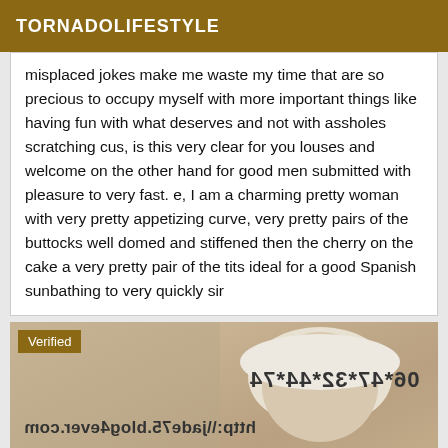TORNADOLIFESTYLE
misplaced jokes make me waste my time that are so precious to occupy myself with more important things like having fun with what deserves and not with assholes scratching cus, is this very clear for you louses and welcome on the other hand for good men submitted with pleasure to very fast. e, I am a charming pretty woman with very pretty appetizing curve, very pretty pairs of the buttocks well domed and stiffened then the cherry on the cake a very pretty pair of the tits ideal for a good Spanish sunbathing to very quickly sir
[Figure (photo): Photo of a woman with a hat, overlaid with mirrored/reversed text reading '06*47*32*44*74' and 'http:\\jade75.blog4ever.com', plus a 'Verified' badge in the top left corner.]